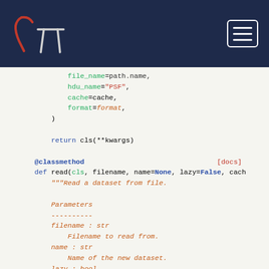[Figure (logo): Gamma Pi math/science logo in red and white on dark navy navbar with hamburger menu icon]
file_name=path.name,
            hdu_name="PSF",
            cache=cache,
            format=format,
        )

        return cls(**kwargs)

    @classmethod                                    [docs]
    def read(cls, filename, name=None, lazy=False, cache
        """Read a dataset from file.

        Parameters
        ----------
        filename : str
            Filename to read from.
        name : str
            Name of the new dataset.
        lazy : bool
            Whether to lazy load data into memory
        cache : bool
            Whether to cache the data after loading.
        format : {"gadf"}
            Format of the dataset file.

        Returns